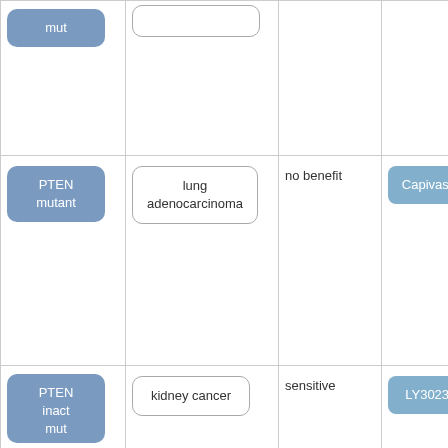| Biomarker | Cancer Type | Response | Drug |
| --- | --- | --- | --- |
| mut |  |  |  |
| PTEN mutant | lung adenocarcinoma | no benefit | Capivasertib |
| PTEN inact mut | kidney cancer | sensitive | LY3023414 |